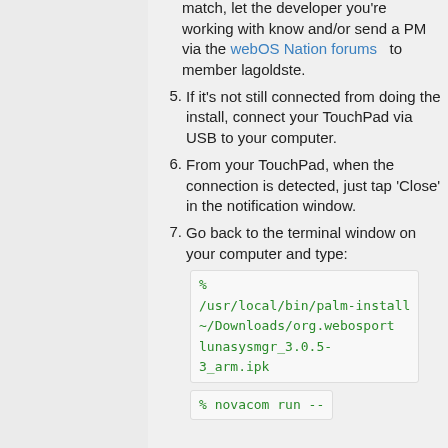match, let the developer you're working with know and/or send a PM via the webOS Nation forums to member lagoldste.
5. If it's not still connected from doing the install, connect your TouchPad via USB to your computer.
6. From your TouchPad, when the connection is detected, just tap 'Close' in the notification window.
7. Go back to the terminal window on your computer and type:
% /usr/local/bin/palm-install ~/Downloads/org.webosports.lunasysmgr_3.0.5-3_arm.ipk
% novacom run --